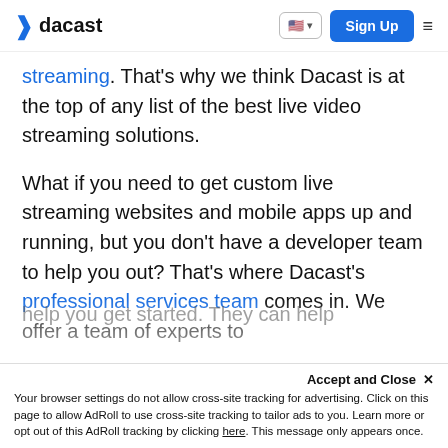dacast — navigation bar with logo, US flag language selector, Sign Up button, and hamburger menu
streaming. That's why we think Dacast is at the top of any list of the best live video streaming solutions.
What if you need to get custom live streaming websites and mobile apps up and running, but you don't have a developer team to help you out? That's where Dacast's professional services team comes in. We offer a team of experts to help you get started. They can help
Your browser settings do not allow cross-site tracking for advertising. Click on this page to allow AdRoll to use cross-site tracking to tailor ads to you. Learn more or opt out of this AdRoll tracking by clicking here. This message only appears once.